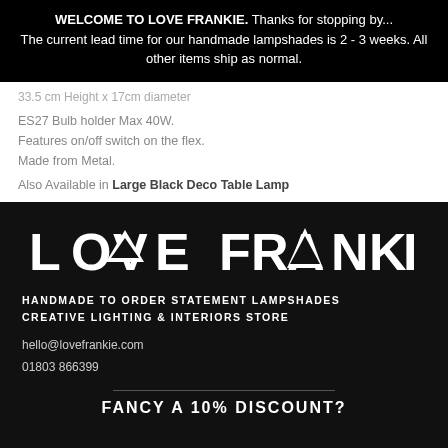WELCOME TO LOVE FRANKIE. Thanks for stopping by... The current lead time for our handmade lampshades is 2 - 3 weeks. All other items ship as normal.
33.5 cm Height x 17cm diameter
ES27 Bulb holder Max 40W.
Features on/off switch on the flex.
Made from Metal.
Also Available in Large Black Deco Table Lamp
[Figure (logo): LOVE FRANKIE logo in white on black background with stylized triangle replacing the V in LOVE and the A in FRANKIE]
HANDMADE TO ORDER STATEMENT LAMPSHADES
CREATIVE LIGHTING & INTERIORS STORE
hello@lovefrankie.com
01803 866399
FANCY A 10% DISCOUNT?